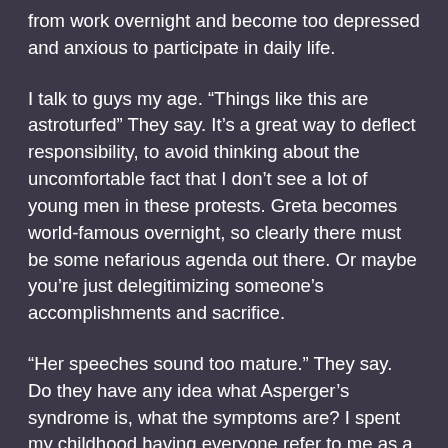from work overnight and become too depressed and anxious to participate in daily life.
I talk to guys my age. “Things like this are astroturfed” They say. It’s a great way to deflect responsibility, to avoid thinking about the uncomfortable fact that I don’t see a lot of young men in these protests. Greta becomes world-famous overnight, so clearly there must be some nefarious agenda out there. Or maybe you’re just delegitimizing someone’s accomplishments and sacrifice.
“Her speeches sound too mature.” They say. Do they have any idea what Asperger’s syndrome is, what the symptoms are? I spent my childhood having everyone refer to me as a “little professor”. I’d visit my grandmother, her neighbor would be there and proclaim upon seeing me: “Ah there we have your professor!” Children with Asperger’s syndrome tend to sound mature for their age. For the parents that’s fun, for the children, not as much.
I’m embarassed, I’m embarassed by the fact that teenage girls